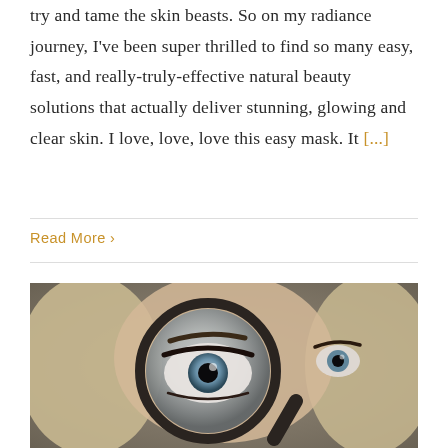try and tame the skin beasts. So on my radiance journey, I've been super thrilled to find so many easy, fast, and really-truly-effective natural beauty solutions that actually deliver stunning, glowing and clear skin. I love, love, love this easy mask. It [...]
Read More ›
[Figure (photo): Blonde woman holding a magnifying glass up to her eye, eye enlarged through the lens, dramatic makeup visible, moody grey background]